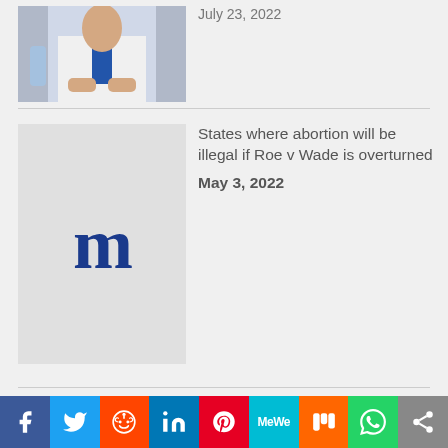[Figure (photo): Cropped photo of a man in white shirt and blue tie at a table]
July 23, 2022
[Figure (logo): Daily Mail gothic 'm' logo in dark blue on light grey background]
States where abortion will be illegal if Roe v Wade is overturned
May 3, 2022
[Figure (photo): Red Chinese Communist Party flag with hammer and sickle against a crowd background]
SHEFFIELD: China Is Miles Away From Being The World's Good Samaritan. Here's Ten Reasons Why
August 21, 2022